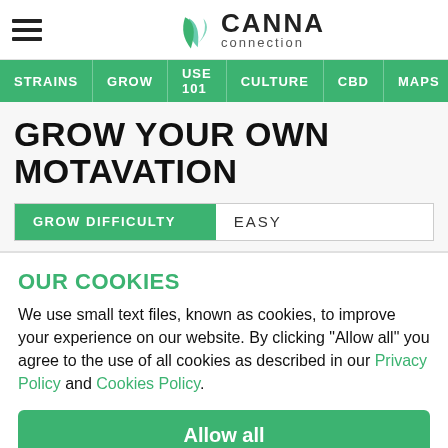CANNA connection
STRAINS | GROW | USE 101 | CULTURE | CBD | MAPS
GROW YOUR OWN MOTAVATION
GROW DIFFICULTY   EASY
OUR COOKIES
We use small text files, known as cookies, to improve your experience on our website. By clicking "Allow all" you agree to the use of all cookies as described in our Privacy Policy and Cookies Policy.
Allow all
Reject all   Manage cookies